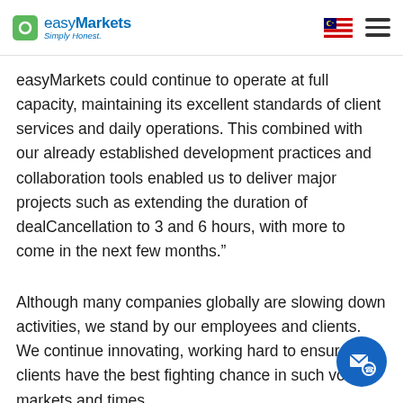easyMarkets Simply Honest.
easyMarkets could continue to operate at full capacity, maintaining its excellent standards of client services and daily operations. This combined with our already established development practices and collaboration tools enabled us to deliver major projects such as extending the duration of dealCancellation to 3 and 6 hours, with more to come in the next few months.”
Although many companies globally are slowing down activities, we stand by our employees and clients. We continue innovating, working hard to ensure our clients have the best fighting chance in such volatile markets and times.